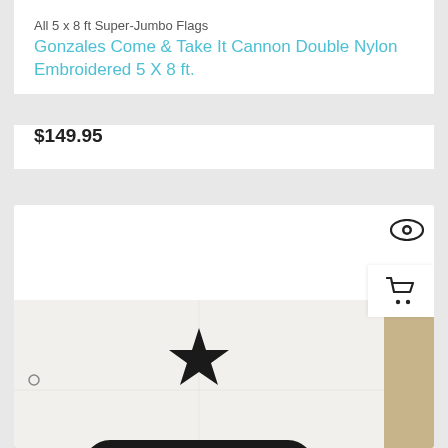All 5 x 8 ft Super-Jumbo Flags
Gonzales Come & Take It Cannon Double Nylon Embroidered 5 X 8 ft.
$149.95
[Figure (photo): Product photo of a white flag with a black star, black cannon, and the text COME AND TAKE IT printed in bold black letters at the bottom. The flag is hung on a wooden wall.]